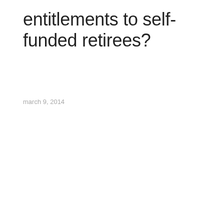entitlements to self-funded retirees?
march 9, 2014